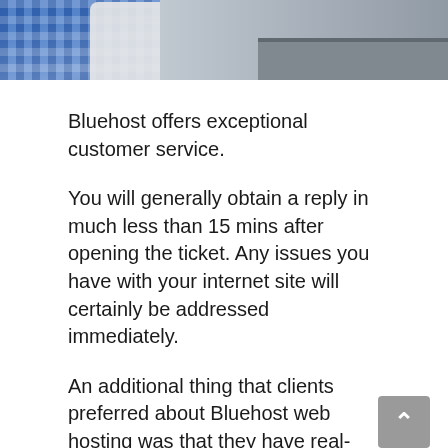[Figure (photo): Partial photo of a person holding a phone, wearing a blue checkered shirt, with a laptop visible in the background. Only the bottom portion of the image is shown.]
Bluehost offers exceptional customer service.
You will generally obtain a reply in much less than 15 mins after opening the ticket. Any issues you have with your internet site will certainly be addressed immediately.
An additional thing that clients preferred about Bluehost web hosting was that they have real-time chat assistance 24/hrs so you never ever need to wait for any kind of help.
With online chat available during business hours (Monday till Friday), you'll discover a